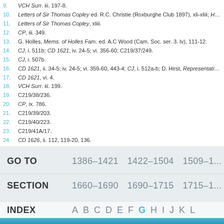9. VCH Surr. iii. 197-8.
10. Letters of Sir Thomas Copley ed. R.C. Christie (Roxburghe Club 1897), xli-xliii; HP Common...
11. Letters of Sir Thomas Copley, xliii.
12. CP, iii. 349.
13. G. Holles, Mems. of Holles Fam. ed. A.C Wood (Cam. Soc. ser. 3. lv), 111-12.
14. CJ, i. 511b; CD 1621, iv. 24-5; vi. 356-60; C219/37/249.
15. CJ, i. 507b.
16. CD 1621, ii. 34-5; iv. 24-5; vi. 359-60, 443-4; CJ, i. 512a-b; D. Hirst, Representative of the P...
17. CD 1621, vi. 4.
18. VCH Surr. iii. 199.
19. C219/38/236.
20. CP, ix. 786.
21. C219/39/203.
22. C219/40/223.
23. C219/41A/17.
24. CD 1626, ii. 112, 119-20, 136.
GO TO  1386-1421  1422-1504  1509-1...  SECTION  1660-1690  1690-1715  1715-1...
INDEX  A  B  C  D  E  F  G  H  I  J  K  L...